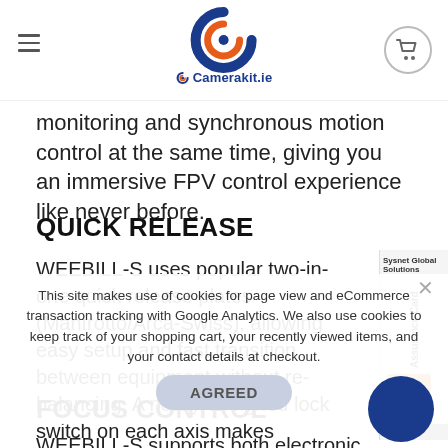Camerakit.ie
monitoring and synchronous motion control at the same time, giving you an immersive FPV control experience like never before.
QUICK RELEASE
WEEBILL-S uses popular two-in-one quick release plates (Manfrotto/Arca-Swiss), allowing easy setup and fast transition between equipment without re-balancing. A newly-designed lock switch on each axis makes balancing and storage much easier and convenient.
This site makes use of cookies for page view and eCommerce transaction tracking with Google Analytics. We also use cookies to keep track of your shopping cart, your recently viewed items, and your contact details at checkout.
FOCUS CONTROL
WEEBILL-S supports both electronic focus control